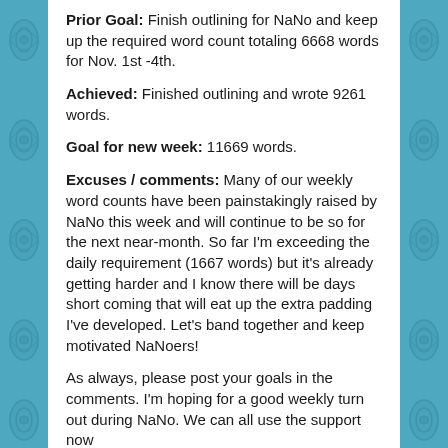Prior Goal: Finish outlining for NaNo and keep up the required word count totaling 6668 words for Nov. 1st -4th.
Achieved: Finished outlining and wrote 9261 words.
Goal for new week: 11669 words.
Excuses / comments: Many of our weekly word counts have been painstakingly raised by NaNo this week and will continue to be so for the next near-month. So far I'm exceeding the daily requirement (1667 words) but it's already getting harder and I know there will be days short coming that will eat up the extra padding I've developed. Let's band together and keep motivated NaNoers!
As always, please post your goals in the comments. I'm hoping for a good weekly turn out during NaNo. We can all use the support now more than ever. Please participate!